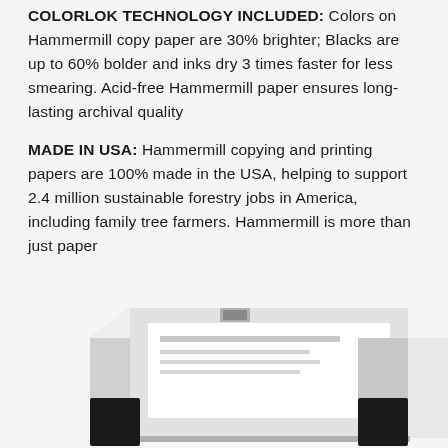COLORLOK TECHNOLOGY INCLUDED: Colors on Hammermill copy paper are 30% brighter; Blacks are up to 60% bolder and inks dry 3 times faster for less smearing. Acid-free Hammermill paper ensures long-lasting archival quality
MADE IN USA: Hammermill copying and printing papers are 100% made in the USA, helping to support 2.4 million sustainable forestry jobs in America, including family tree farmers. Hammermill is more than just paper
MAKE SURE IT'S ORIGINAL HAMMERMILL QUALITY: Look for "Ships from and sold by" at the top of the page, under the product title
[Figure (photo): Bottom portion of a Hammermill copy paper ream/box shown from a low angle, white and silver packaging visible]